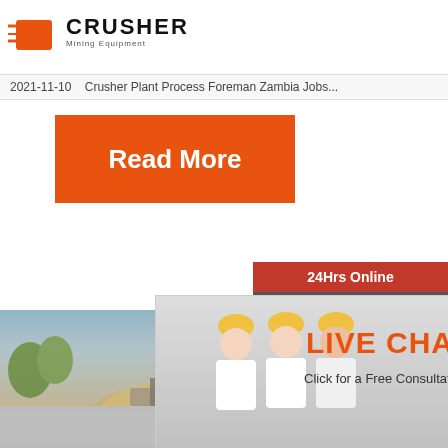[Figure (logo): Crusher Mining Equipment logo with shopping bag icon and bold CRUSHER text]
2021-11-10    Crusher Plant Process Foreman Zambia Jobs...
[Figure (illustration): Orange Read More button]
[Figure (screenshot): Live chat popup with workers in hard hats, LIVE CHAT heading, Click for a Free Consultation text, Chat now and Chat later buttons]
[Figure (photo): Construction/mining site with sand piles and machinery]
[Figure (screenshot): 24Hrs Online bar and sidebar with Need questions & suggestion, Chat Now button, Enquiry, limingjlmofen@sina.com]
Read
Crush